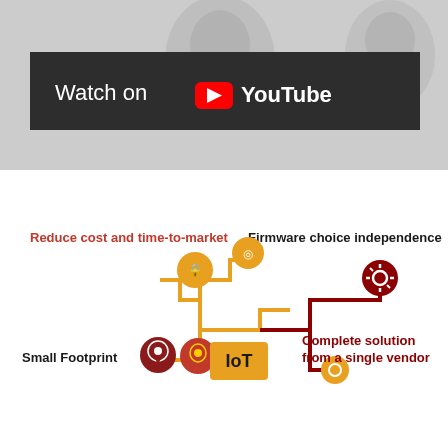[Figure (screenshot): YouTube video thumbnail with 'Watch on YouTube' button overlay. Dark gray background with faint human face silhouettes. Black banner with YouTube logo and text.]
[Figure (infographic): IoT infographic diagram showing interconnected circuit-board style nodes with icons (lock, signal, location pin, gear, etc.) and a central orange 'IoT' block. Labels include: 'Reduce cost and time-to-market' (red), 'Firmware choice independence' (black bold), 'Small Footprint' (black bold), 'Complete solution from a single vendor' (dark red bold). Nodes are colored in orange and dark red/maroon with connecting paths.]